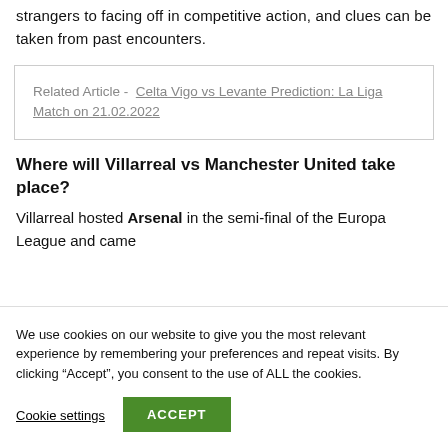strangers to facing off in competitive action, and clues can be taken from past encounters.
Related Article - Celta Vigo vs Levante Prediction: La Liga Match on 21.02.2022
Where will Villarreal vs Manchester United take place?
Villarreal hosted Arsenal in the semi-final of the Europa League and came
We use cookies on our website to give you the most relevant experience by remembering your preferences and repeat visits. By clicking “Accept”, you consent to the use of ALL the cookies.
Cookie settings | ACCEPT